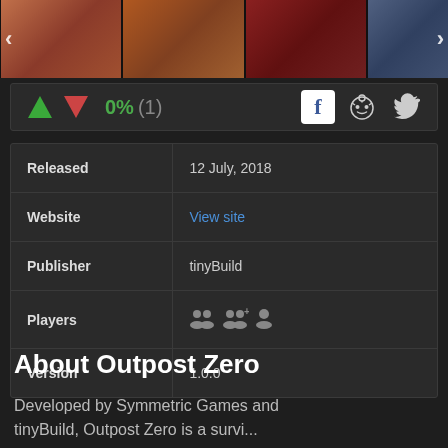[Figure (screenshot): Four game screenshot thumbnails in a horizontal strip with navigation arrows]
0% (1)
| Field | Value |
| --- | --- |
| Released | 12 July, 2018 |
| Website | View site |
| Publisher | tinyBuild |
| Players | [player icons] |
| Version | 1.0.0 |
About Outpost Zero
Developed by Symmetric Games and tinyBuild, Outpost Zero is a free-to-play...